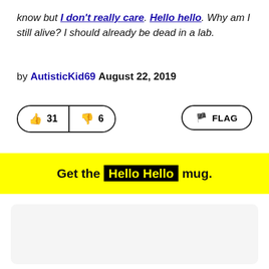know but I don't really care. Hello hello. Why am I still alive? I should already be dead in a lab.
by AutisticKid69 August 22, 2019
[Figure (other): Thumbs up button with count 31, thumbs down button with count 6, and a FLAG button]
Get the Hello Hello mug.
[Figure (other): Empty gray advertisement box]